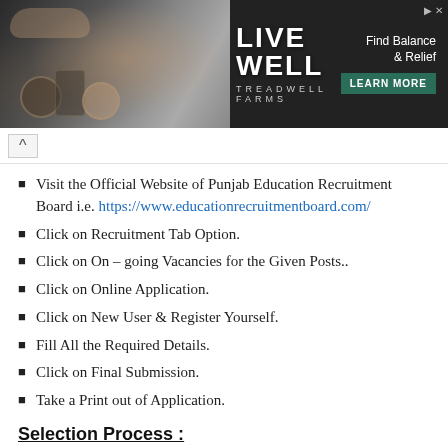[Figure (photo): Advertisement banner for Treadwell Farms showing 'LIVE WELL' text with cosmetic products and a 'Find Balance & Relief - LEARN MORE' call to action button]
Visit the Official Website of Punjab Education Recruitment Board i.e. https://www.educationrecruitmentboard.com/
Click on Recruitment Tab Option.
Click on On – going Vacancies for the Given Posts..
Click on Online Application.
Click on New User & Register Yourself.
Fill All the Required Details.
Click on Final Submission.
Take a Print out of Application.
Selection Process :
Written Test
Important Dates for Punjab Maa Cadre...